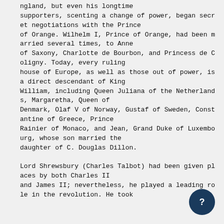ngland, but even his longtime supporters, scenting a change of power, began secret negotiations with the Prince of Orange. Wilhelm I, Prince of Orange, had been married several times, to Anne of Saxony, Charlotte de Bourbon, and Princess de Coligny. Today, every ruling house of Europe, as well as those out of power, is a direct descendant of King William, including Queen Juliana of the Netherlands, Margaretha, Queen of Denmark, Olaf V of Norway, Gustaf of Sweden, Constantine of Greece, Prince Rainier of Monaco, and Jean, Grand Duke of Luxembourg, whose son married the daughter of C. Douglas Dillon.

Lord Shrewsbury (Charles Talbot) had been given places by both Charles II and James II; nevertheless, he played a leading role in the revolution. He took